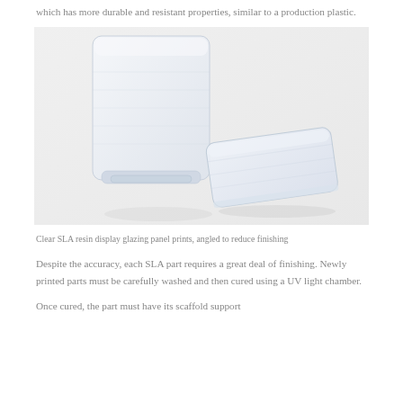which has more durable and resistant properties, similar to a production plastic.
[Figure (photo): Two clear SLA resin display glazing panel prints on a white background, shown angled. One is a taller rectangular piece with support structures visible at the bottom, and the other is a flatter rectangular panel lying on its side.]
Clear SLA resin display glazing panel prints, angled to reduce finishing
Despite the accuracy, each SLA part requires a great deal of finishing. Newly printed parts must be carefully washed and then cured using a UV light chamber.
Once cured, the part must have its scaffold support